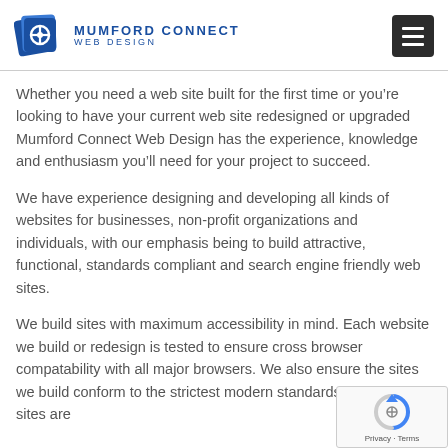MUMFORD CONNECT WEB DESIGN
Whether you need a web site built for the first time or you’re looking to have your current web site redesigned or upgraded Mumford Connect Web Design has the experience, knowledge and enthusiasm you’ll need for your project to succeed.
We have experience designing and developing all kinds of websites for businesses, non-profit organizations and individuals, with our emphasis being to build attractive, functional, standards compliant and search engine friendly web sites.
We build sites with maximum accessibility in mind. Each website we build or redesign is tested to ensure cross browser compatability with all major browsers. We also ensure the sites we build conform to the strictest modern standards to ensure sites are